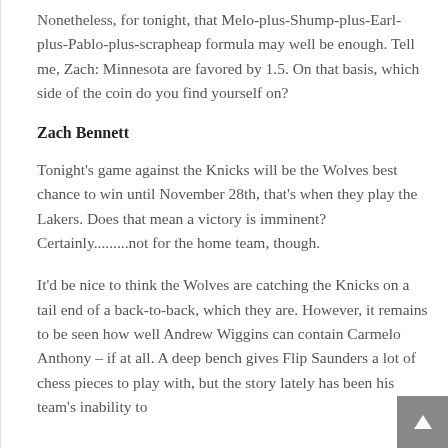Nonetheless, for tonight, that Melo-plus-Shump-plus-Earl-plus-Pablo-plus-scrapheap formula may well be enough. Tell me, Zach: Minnesota are favored by 1.5. On that basis, which side of the coin do you find yourself on?
Zach Bennett
Tonight's game against the Knicks will be the Wolves best chance to win until November 28th, that's when they play the Lakers. Does that mean a victory is imminent? Certainly.........not for the home team, though.
It'd be nice to think the Wolves are catching the Knicks on a tail end of a back-to-back, which they are. However, it remains to be seen how well Andrew Wiggins can contain Carmelo Anthony – if at all. A deep bench gives Flip Saunders a lot of chess pieces to play with, but the story lately has been his team's inability to